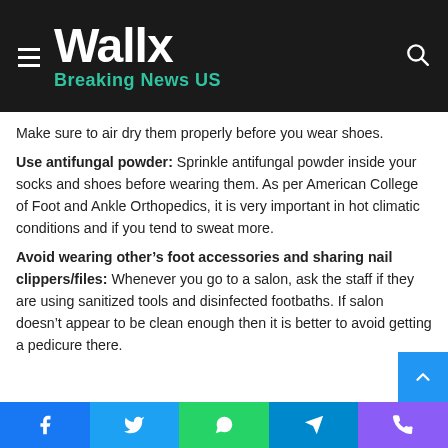Wallx Breaking News US
Make sure to air dry them properly before you wear shoes.
Use antifungal powder: Sprinkle antifungal powder inside your socks and shoes before wearing them. As per American College of Foot and Ankle Orthopedics, it is very important in hot climatic conditions and if you tend to sweat more.
Avoid wearing other’s foot accessories and sharing nail clippers/files: Whenever you go to a salon, ask the staff if they are using sanitized tools and disinfected footbaths. If salon doesn’t appear to be clean enough then it is better to avoid getting a pedicure there.